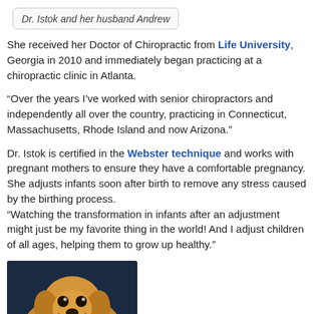Dr. Istok and her husband Andrew
She received her Doctor of Chiropractic from Life University, Georgia in 2010 and immediately began practicing at a chiropractic clinic in Atlanta.
“Over the years I’ve worked with senior chiropractors and independently all over the country, practicing in Connecticut, Massachusetts, Rhode Island and now Arizona.”
Dr. Istok is certified in the Webster technique and works with pregnant mothers to ensure they have a comfortable pregnancy. She adjusts infants soon after birth to remove any stress caused by the birthing process. “Watching the transformation in infants after an adjustment might just be my favorite thing in the world! And I adjust children of all ages, helping them to grow up healthy.”
[Figure (photo): Photo of a small golden/tan puppy wearing a purple bandana, looking at the camera against a dark blue background.]